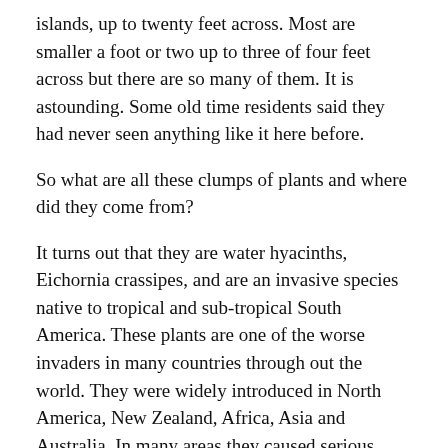islands, up to twenty feet across.  Most are smaller a foot or two up to three of four feet across but there are so many of them.  It is astounding.  Some old time residents said they had never seen anything like it here before.
So what are all these clumps of plants and where did they come from?
It turns out that they are water hyacinths, Eichornia crassipes, and are an invasive species native to tropical and sub-tropical South America.  These plants are one of the worse invaders in many countries through out the world.  They were widely introduced in North America, New Zealand, Africa, Asia and Australia.  In many areas they caused serious damage.
Continue reading